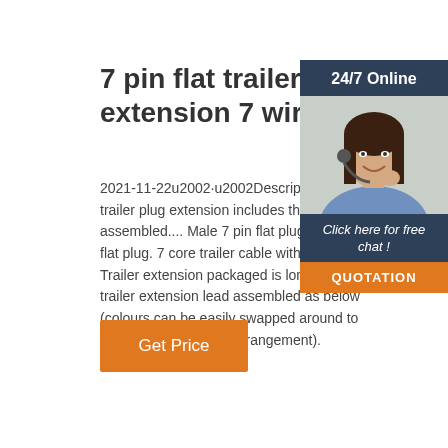7 pin flat trailer plug extension 7 wires
2021-11-22u2002·u2002Description. 7 pin trailer plug extension includes the following assembled.... Male 7 pin flat plug. Female flat plug. 7 core trailer cable with lugged co. Trailer extension packaged is long lasting trailer extension lead assembled as below (colours can be easily swapped around to buyers own personal arrangement).
[Figure (photo): Woman with headset smiling, customer service representative, 24/7 Online chat widget with orange QUOTATION button]
Get Price